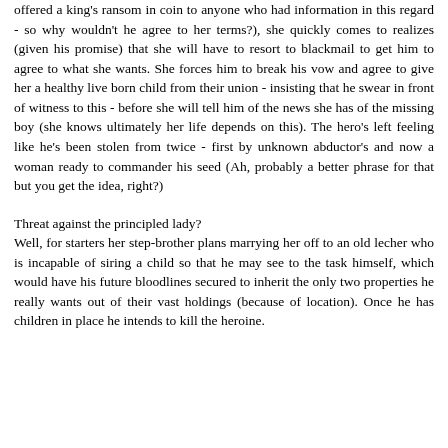offered a king's ransom in coin to anyone who had information in this regard - so why wouldn't he agree to her terms?), she quickly comes to realizes (given his promise) that she will have to resort to blackmail to get him to agree to what she wants. She forces him to break his vow and agree to give her a healthy live born child from their union - insisting that he swear in front of witness to this - before she will tell him of the news she has of the missing boy (she knows ultimately her life depends on this). The hero's left feeling like he's been stolen from twice - first by unknown abductor's and now a woman ready to commander his seed (Ah, probably a better phrase for that but you get the idea, right?)
Threat against the principled lady?
Well, for starters her step-brother plans marrying her off to an old lecher who is incapable of siring a child so that he may see to the task himself, which would have his future bloodlines secured to inherit the only two properties he really wants out of their vast holdings (because of location). Once he has children in place he intends to kill the heroine.